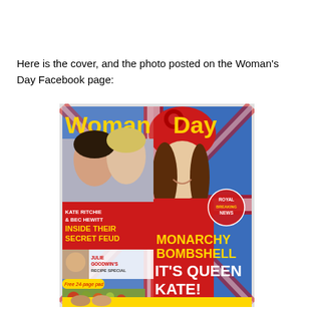Here is the cover, and the photo posted on the Woman's Day Facebook page:
[Figure (photo): Woman's Day magazine cover featuring Kate Middleton in a red outfit and red hat, with headlines: 'MONARCHY BOMBSHELL IT'S QUEEN KATE!', 'KATE RITCHIE & BEC HEWITT INSIDE THEIR SECRET FEUD', 'JULIE GOODWIN'S RECIPE SPECIAL', and 'ROYAL BREAKING NEWS' badge.]